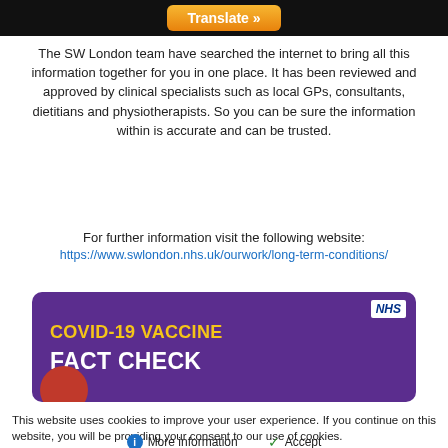[Figure (screenshot): Black top navigation bar with orange 'Translate »' button in center]
The SW London team have searched the internet to bring all this information together for you in one place. It has been reviewed and approved by clinical specialists such as local GPs, consultants, dietitians and physiotherapists. So you can be sure the information within is accurate and can be trusted.
For further information visit the following website:
https://www.swlondon.nhs.uk/ourwork/long-term-conditions/
[Figure (screenshot): NHS Covid-19 Vaccine Fact Check banner image — purple background, NHS logo top right, yellow text 'COVID-19 VACCINE', white bold text 'FACT CHECK', red circle decoration bottom left]
This website uses cookies to improve your user experience. If you continue on this website, you will be providing your consent to our use of cookies.
ℹ More information   ✓ Accept